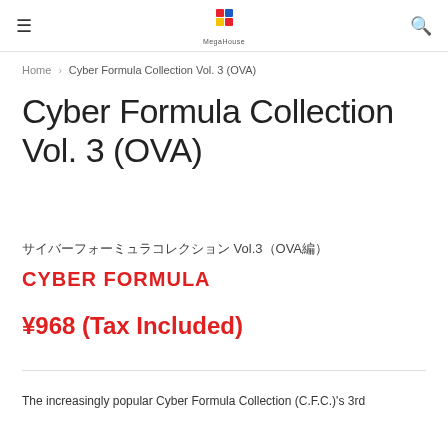≡  MegaHouse  🔍
Home › Cyber Formula Collection Vol. 3 (OVA)
Cyber Formula Collection Vol. 3 (OVA)
サイバーフォーミュラコレクション Vol.3（OVA編）
CYBER FORMULA
¥968 (Tax Included)
The increasingly popular Cyber Formula Collection (C.F.C.)'s 3rd